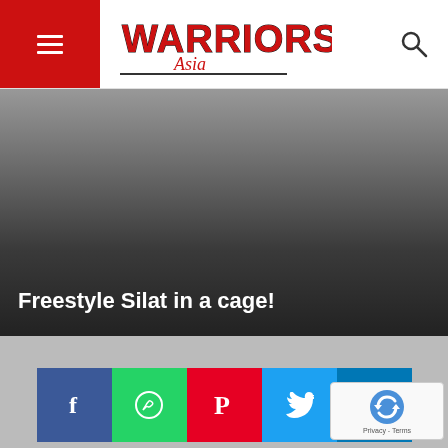[Figure (logo): Warriors Asia logo with red stylized text and underline]
Freestyle Silat in a cage!
[Figure (photo): Dark gradient hero image background for article]
[Figure (infographic): Social share buttons: Facebook, WhatsApp, Pinterest, Twitter, LinkedIn]
[Figure (other): reCAPTCHA Privacy - Terms badge]